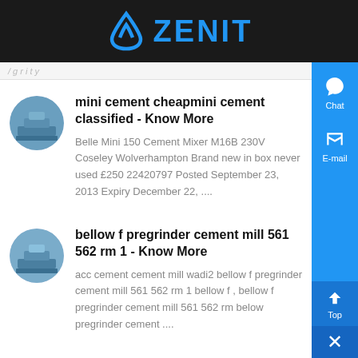ZENIT
mini cement cheapmini cement classified - Know More
Belle Mini 150 Cement Mixer M16B 230V Coseley Wolverhampton Brand new in box never used £250 22420797 Posted September 23, 2013 Expiry December 22, ....
bellow f pregrinder cement mill 561 562 rm 1 - Know More
acc cement cement mill wadi2 bellow f pregrinder cement mill 561 562 rm 1 bellow f , bellow f pregrinder cement mill 561 562 rm below pregrinder cement ....